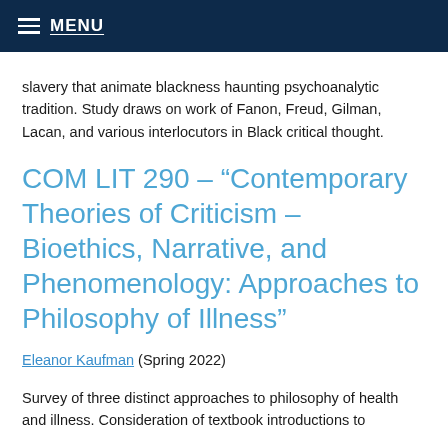MENU
slavery that animate blackness haunting psychoanalytic tradition. Study draws on work of Fanon, Freud, Gilman, Lacan, and various interlocutors in Black critical thought.
COM LIT 290 – “Contemporary Theories of Criticism – Bioethics, Narrative, and Phenomenology: Approaches to Philosophy of Illness”
Eleanor Kaufman (Spring 2022)
Survey of three distinct approaches to philosophy of health and illness. Consideration of textbook introductions to